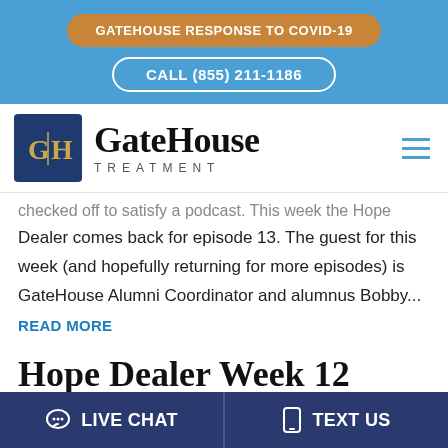[Figure (infographic): Orange rounded rectangle button with white bold text: GATEHOUSE RESPONSE TO COVID-19]
[Figure (infographic): White outlined rounded rectangle button with white bold text: CALL (855) 211-1186]
[Figure (logo): GateHouse Treatment logo with dark blue square GH icon and serif text GateHouse Treatment]
...checked off to satisfy a podcast. This week the Hope Dealer comes back for episode 13. The guest for this week (and hopefully returning for more episodes) is GateHouse Alumni Coordinator and alumnus Bobby...
READ MORE
Hope Dealer Week 12
GateHouse Treatment Founder Nathan begins the episode...
[Figure (infographic): Dark blue bottom bar with LIVE CHAT and TEXT US buttons]
LIVE CHAT   TEXT US